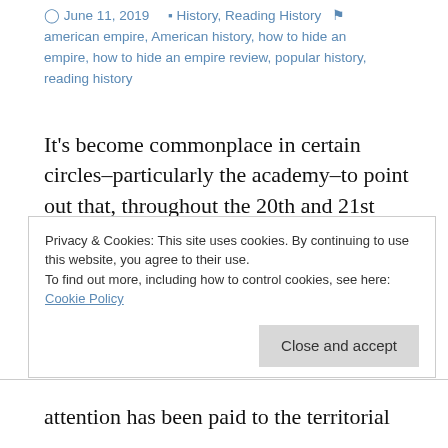June 11, 2019   History, Reading History   american empire, American history, how to hide an empire, how to hide an empire review, popular history, reading history
It's become commonplace in certain circles–particularly the academy–to point out that, throughout the 20th and 21st Centuries America has practiced a form of imperialism, exporting its ideas and way of life throughout the globe, often at the point of a sword (or, more accurately, the barrel of a gun). There is, of course, a great deal of truth to the idea that the United States exerts a
Privacy & Cookies: This site uses cookies. By continuing to use this website, you agree to their use.
To find out more, including how to control cookies, see here: Cookie Policy
Close and accept
attention has been paid to the territorial